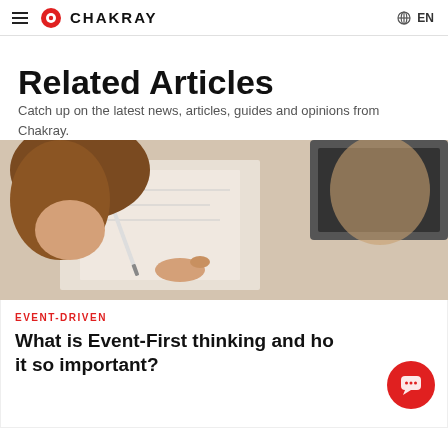CHAKRAY  EN
Related Articles
Catch up on the latest news, articles, guides and opinions from Chakray.
[Figure (photo): A woman writing with a pen, viewed from above, with documents on a desk. Another person partially visible in the background.]
EVENT-DRIVEN
What is Event-First thinking and how it so important?